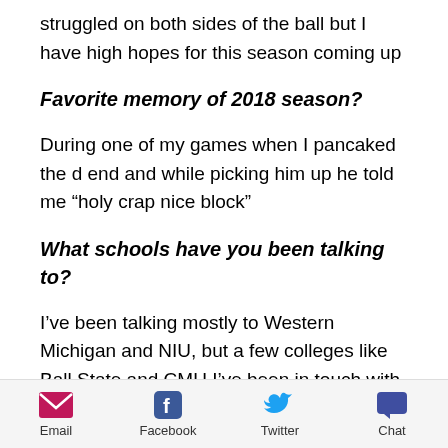struggled on both sides of the ball but I have high hopes for this season coming up
Favorite memory of 2018 season?
During one of my games when I pancaked the d end and while picking him up he told me “holy crap nice block”
What schools have you been talking to?
I’ve been talking mostly to Western Michigan and NIU, but a few colleges like Ball State and CMU I’ve been in touch with
Email  Facebook  Twitter  Chat